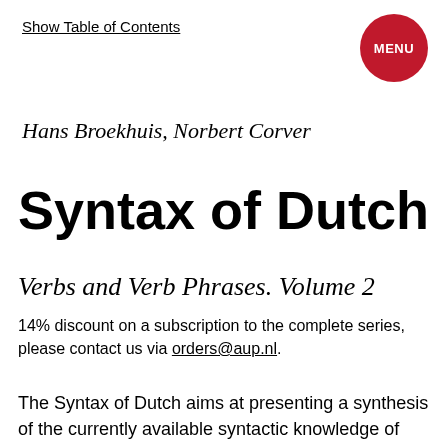Show Table of Contents
Hans Broekhuis, Norbert Corver
Syntax of Dutch
Verbs and Verb Phrases. Volume 2
14% discount on a subscription to the complete series, please contact us via orders@aup.nl.
The Syntax of Dutch aims at presenting a synthesis of the currently available syntactic knowledge of Dutch. It is primarily concerned with language description and